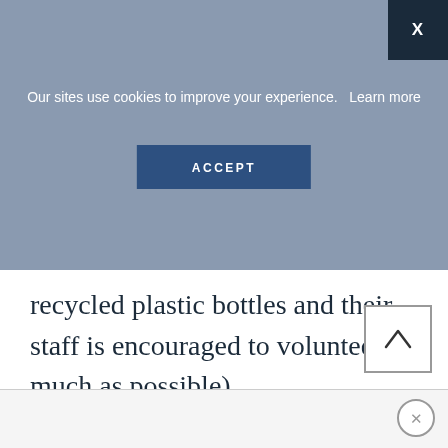Our sites use cookies to improve your experience.   Learn more
ACCEPT
recycled plastic bottles and their staff is encouraged to volunteer as much as possible).